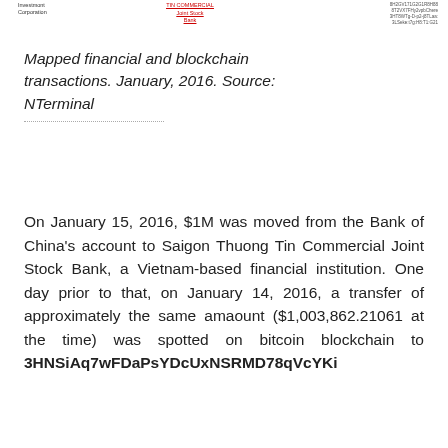Investmont Corporation   TIN COMMERCIAL Joint Stock Bank   [hash strings]
Mapped financial and blockchain transactions. January, 2016. Source: NTerminal
On January 15, 2016, $1M was moved from the Bank of China's account to Saigon Thuong Tin Commercial Joint Stock Bank, a Vietnam-based financial institution. One day prior to that, on January 14, 2016, a transfer of approximately the same amaount ($1,003,862.21061 at the time) was spotted on bitcoin blockchain to 3HNSiAq7wFDaPsYDcUxNSRMD78qVcYKi